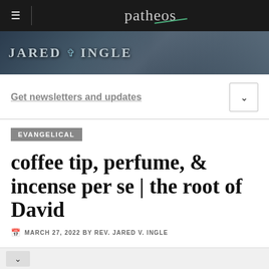patheos
[Figure (illustration): Banner image for Jared Ingle blog with dark wintry forest background, title text JARED INGLE with cross icon]
Get newsletters and updates
EVANGELICAL
coffee tip, perfume, & incense per se | the root of David
MARCH 27, 2022 BY REV. JARED V. INGLE
Opinion: One of the best blogs I ever wrote on Myspace before that mountain